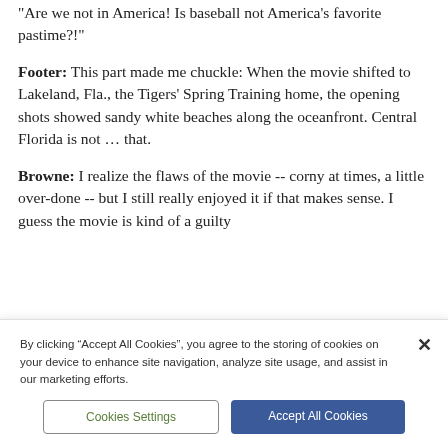“Are we not in America! Is baseball not America’s favorite pastime?!”
Footer: This part made me chuckle: When the movie shifted to Lakeland, Fla., the Tigers’ Spring Training home, the opening shots showed sandy white beaches along the oceanfront. Central Florida is not … that.
Browne: I realize the flaws of the movie -- corny at times, a little over-done -- but I still really enjoyed it if that makes sense. I guess the movie is kind of a guilty
By clicking “Accept All Cookies”, you agree to the storing of cookies on your device to enhance site navigation, analyze site usage, and assist in our marketing efforts.
Cookies Settings
Accept All Cookies